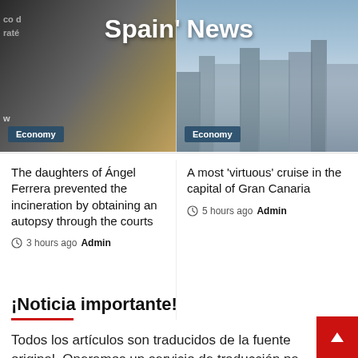[Figure (photo): Left: Photo of a man in a dark suit at a podium or event. Partially visible text 'co d' and 'raté' on left edge. 'Economy' badge at bottom left. Right: Cityscape/aerial photo with buildings. 'Economy' badge at bottom left. Site title 'Spain' News' overlaid at top.]
Spain' News
The daughters of Ángel Ferrera prevented the incineration by obtaining an autopsy through the courts
3 hours ago  Admin
A most 'virtuous' cruise in the capital of Gran Canaria
5 hours ago  Admin
¡Noticia importante!
Todos los artículos son traducidos de la fuente original. Operamos un servicio de traducción pa ayudar a las personas de habla inglesa en España a